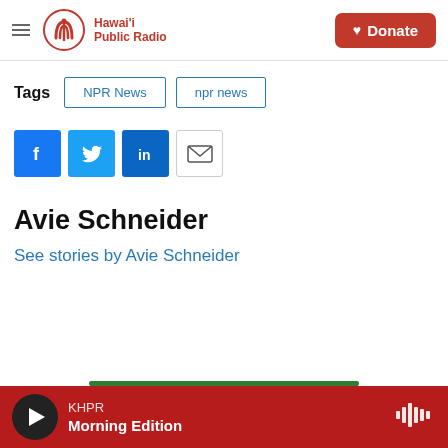Hawai'i Public Radio | Donate
Tags  NPR News  npr news
[Figure (other): Social share buttons: Facebook, Twitter, LinkedIn, Email]
Avie Schneider
See stories by Avie Schneider
KHPR Morning Edition (play button and waveform icon)